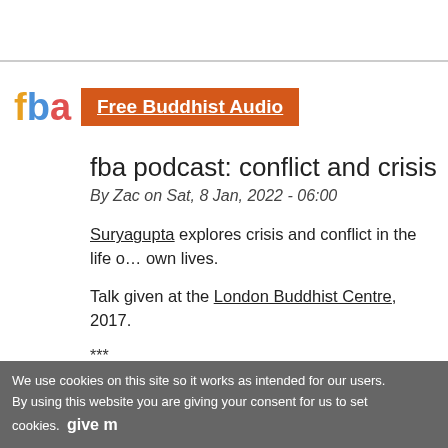Free Buddhist Audio
fba podcast: conflict and crisis
By Zac on Sat, 8 Jan, 2022 - 06:00
Suryagupta explores crisis and conflict in the life o… own lives.
Talk given at the London Buddhist Centre, 2017.
***
Subscribe to our Free Buddhist Audio podcast: A full, curated, quality Dharma talk, every week.
Subscribe to our Dharmabytes podcast: On App…
We use cookies on this site so it works as intended for our users. By using this website you are giving your consent for us to set cookies. give m